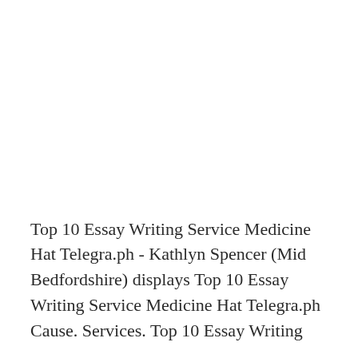Top 10 Essay Writing Service Medicine Hat Telegra.ph - Kathlyn Spencer (Mid Bedfordshire) displays Top 10 Essay Writing Service Medicine Hat Telegra.ph Cause. Services. Top 10 Essay Writing